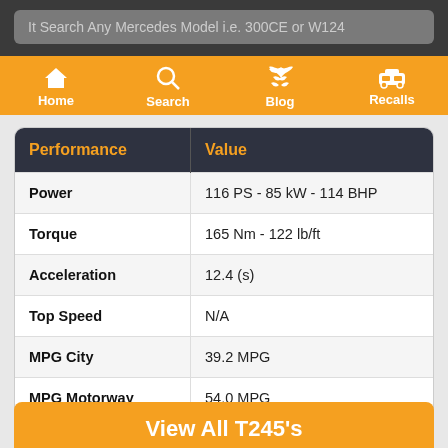Search Any Mercedes Model i.e. 300CE or W124
[Figure (screenshot): Navigation bar with Home, Search, Blog, Recalls icons on orange background]
| Performance | Value |
| --- | --- |
| Power | 116 PS - 85 kW - 114 BHP |
| Torque | 165 Nm - 122 lb/ft |
| Acceleration | 12.4 (s) |
| Top Speed | N/A |
| MPG City | 39.2 MPG |
| MPG Motorway | 54.0 MPG |
View All T245's